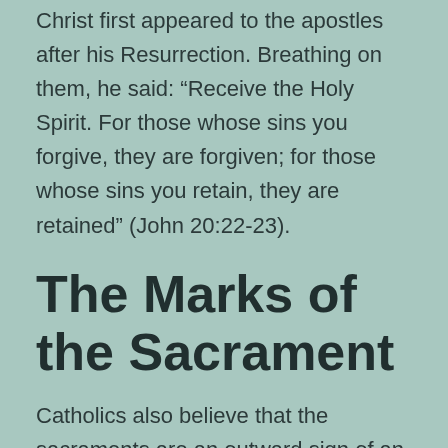Christ first appeared to the apostles after his Resurrection. Breathing on them, he said: “Receive the Holy Spirit. For those whose sins you forgive, they are forgiven; for those whose sins you retain, they are retained” (John 20:22-23).
The Marks of the Sacrament
Catholics also believe that the sacraments are an outward sign of an inward grace. In this case, the outward sign is the absolution, or forgiveness of sins, that the priest grants to the